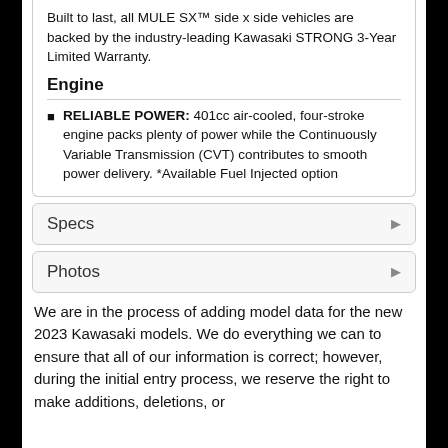Built to last, all MULE SX™ side x side vehicles are backed by the industry-leading Kawasaki STRONG 3-Year Limited Warranty.
Engine
RELIABLE POWER: 401cc air-cooled, four-stroke engine packs plenty of power while the Continuously Variable Transmission (CVT) contributes to smooth power delivery. *Available Fuel Injected option
Specs
Photos
We are in the process of adding model data for the new 2023 Kawasaki models. We do everything we can to ensure that all of our information is correct; however, during the initial entry process, we reserve the right to make additions, deletions, or